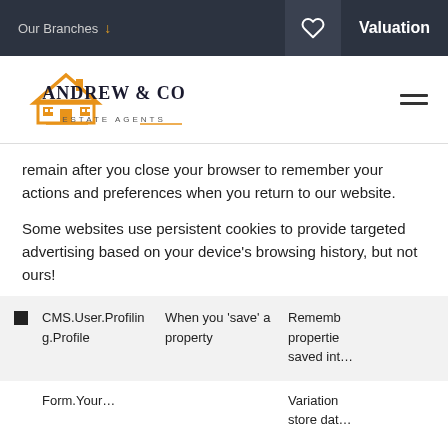Our Branches ↓    ♡    Valuation
[Figure (logo): Andrew & Co Estate Agents logo with orange house/roof illustration and company name]
remain after you close your browser to remember your actions and preferences when you return to our website.
Some websites use persistent cookies to provide targeted advertising based on your device's browsing history, but not ours!
|  | Cookie Name | When Set | Description |
| --- | --- | --- | --- |
| ■ | CMS.User.Profiling.Profile | When you 'save' a property | Remembers properties saved int… |
|  | Form.Your… |  | Variation store dat… |